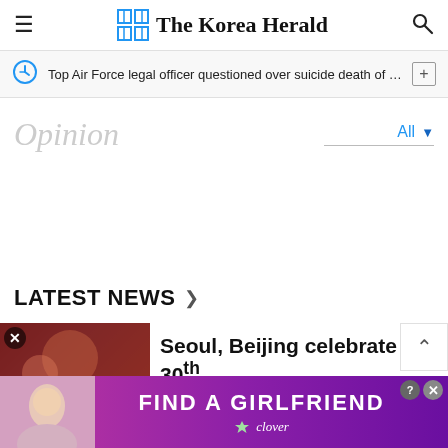The Korea Herald
Top Air Force legal officer questioned over suicide death of servic…
Opinion
LATEST NEWS
Seoul, Beijing celebrate 30th
[Figure (photo): Advertisement banner: FIND A GIRLFRIEND - clover]
[Figure (photo): News article thumbnail image with red/dark background]